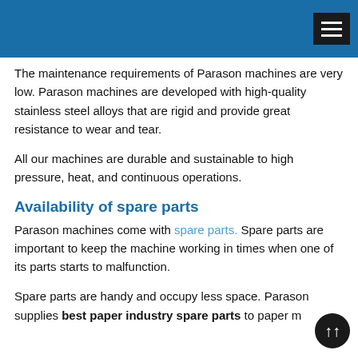The maintenance requirements of Parason machines are very low. Parason machines are developed with high-quality stainless steel alloys that are rigid and provide great resistance to wear and tear.
All our machines are durable and sustainable to high pressure, heat, and continuous operations.
Availability of spare parts
Parason machines come with spare parts. Spare parts are important to keep the machine working in times when one of its parts starts to malfunction.
Spare parts are handy and occupy less space. Parason supplies best paper industry spare parts to paper m…